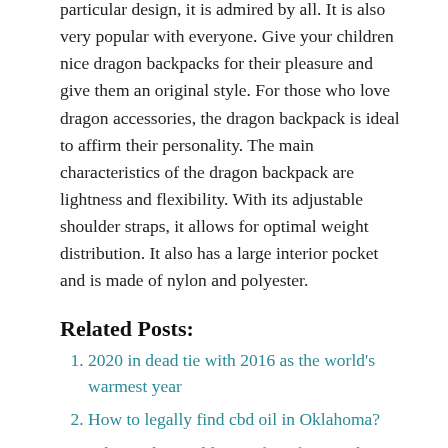particular design, it is admired by all. It is also very popular with everyone. Give your children nice dragon backpacks for their pleasure and give them an original style. For those who love dragon accessories, the dragon backpack is ideal to affirm their personality. The main characteristics of the dragon backpack are lightness and flexibility. With its adjustable shoulder straps, it allows for optimal weight distribution. It also has a large interior pocket and is made of nylon and polyester.
Related Posts:
2020 in dead tie with 2016 as the world's warmest year
How to legally find cbd oil in Oklahoma?
What Is the Health Benefits of Strength Training?
How to pick up girls on transsexual dating sites?